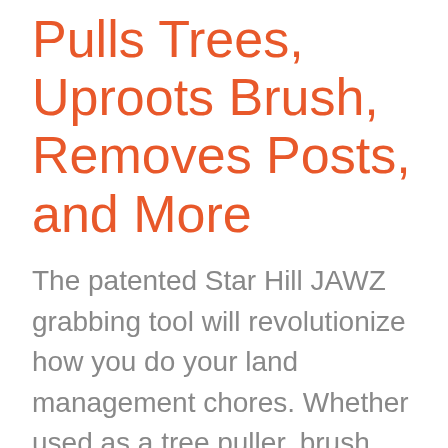Pulls Trees, Uproots Brush, Removes Posts, and More
The patented Star Hill JAWZ grabbing tool will revolutionize how you do your land management chores. Whether used as a tree puller, brush remover, post puller or to move rocks and boulders you will soon realize the ease with which this patented quick-attach tool allows you to complete these tedious